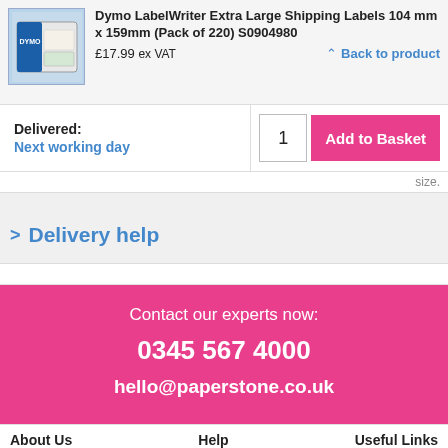Dymo LabelWriter Extra Large Shipping Labels 104 mm x 159mm (Pack of 220) S0904980
£17.99 ex VAT
Back to product
Delivered: Next working day
1  Add to Basket
size.
Delivery help
Contact our experts now:
0345 567 4000
hello@paperstone.co.uk
About Us   Help   Useful Links